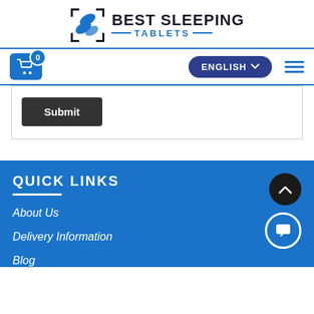[Figure (logo): Best Sleeping Tablets logo with blue pill icon and brand name]
[Figure (screenshot): Navigation bar with shopping cart (0 items), English language selector, and hamburger menu]
[Figure (screenshot): Submit button in dark gray box inside a bordered section]
QUICK LINKS
About Us
Delivery Information
Blog